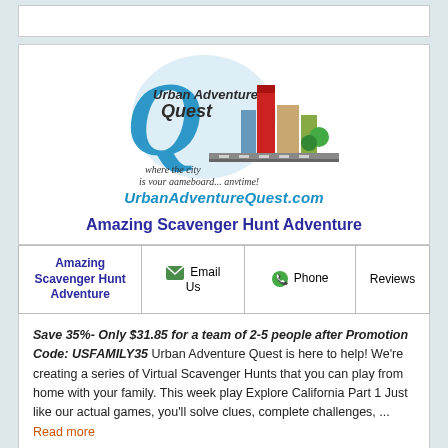[Figure (logo): Urban Adventure Quest logo with large blue Q letter, city buildings, and tagline 'where the city is your gameboard... anytime!']
UrbanAdventureQuest.com
Amazing Scavenger Hunt Adventure
| Amazing Scavenger Hunt Adventure | Email Us | Phone | Reviews |
| --- | --- | --- | --- |
Save 35%- Only $31.85 for a team of 2-5 people after Promotion Code: USFAMILY35 Urban Adventure Quest is here to help! We're creating a series of Virtual Scavenger Hunts that you can play from home with your family. This week play Explore California Part 1 Just like our actual games, you'll solve clues, complete challenges, ... Read more